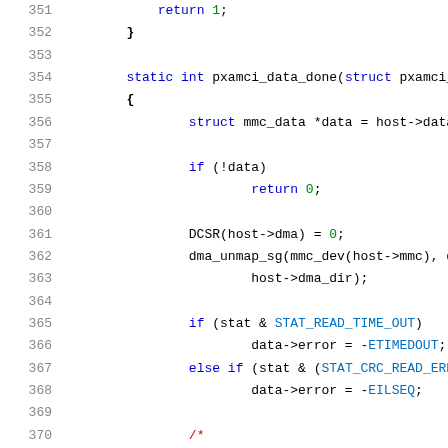Source code listing lines 351-371, C language
351     return 1;
352 }
353
354     static int pxamci_data_done(struct pxamci_host
355     {
356             struct mmc_data *data = host->data;
357
358             if (!data)
359                     return 0;
360
361             DCSR(host->dma) = 0;
362             dma_unmap_sg(mmc_dev(host->mmc), data->s
363                     host->dma_dir);
364
365             if (stat & STAT_READ_TIME_OUT)
366                     data->error = -ETIMEDOUT;
367             else if (stat & (STAT_CRC_READ_ERROR|STA
368                     data->error = -EILSEQ;
369
370             /*
371              * There appears to be a hardware desig